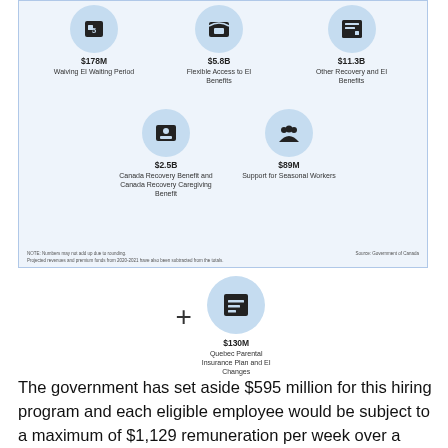[Figure (infographic): Infographic showing government EI benefit measures with icons and dollar amounts: Waiving EI Waiting Period $178M, Flexible Access to EI Benefits $5.8B, Other Recovery and EI Benefits $11.3B, Canada Recovery Benefit and Canada Recovery Caregiving Benefit $2.5B, Support for Seasonal Workers $89M. Plus Quebec Parental Insurance Plan and EI Changes $130M.]
The government has set aside $595 million for this hiring program and each eligible employee would be subject to a maximum of $1,129 remuneration per week over a four-week period. It can be used for both new workers and rehiring laid-off staff, but would not be available to employees who have been furloughed.